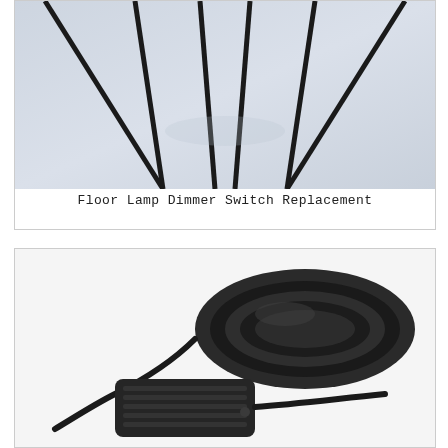[Figure (photo): A floor lamp with dark metal tripod legs against a light blue-grey background, showing the upper portion of the lamp frame.]
Floor Lamp Dimmer Switch Replacement
[Figure (photo): A black inline foot dimmer switch with coiled black electrical cord, photographed on a white background.]